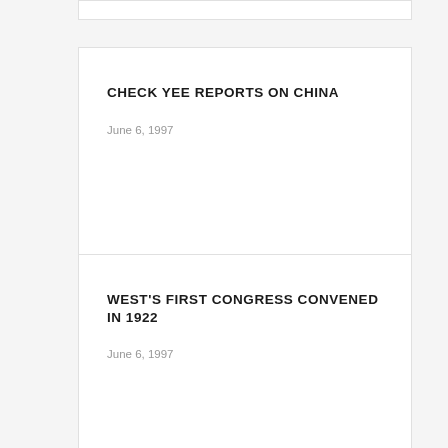CHECK YEE REPORTS ON CHINA
June 6, 1997
WEST'S FIRST CONGRESS CONVENED IN 1922
June 6, 1997